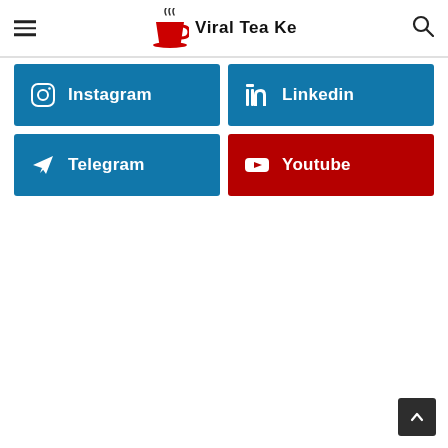Viral Tea Ke
[Figure (infographic): Instagram social media button - blue background with Instagram icon and text]
[Figure (infographic): Linkedin social media button - blue background with LinkedIn icon and text]
[Figure (infographic): Telegram social media button - blue background with Telegram icon and text]
[Figure (infographic): Youtube social media button - red background with YouTube icon and text]